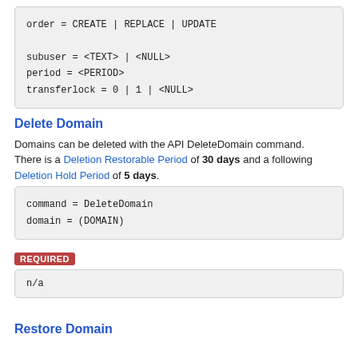Delete Domain
Domains can be deleted with the API DeleteDomain command.
There is a Deletion Restorable Period of 30 days and a following Deletion Hold Period of 5 days.
REQUIRED
Restore Domain